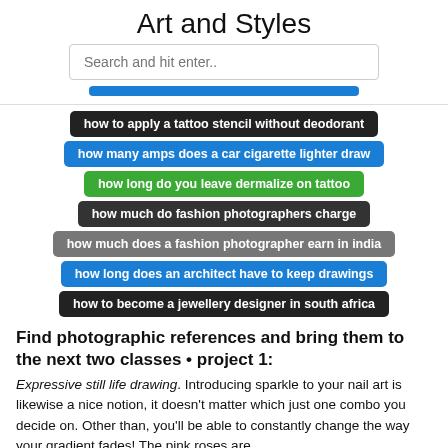Art and Styles
Search and hit enter..
how to apply a tattoo stencil without deodorant
how many amps does a car cigarette lighter draw
how long do you leave dermalize on tattoo
how much do fashion photographers charge
how much does a fashion photographer earn in india
how long does an architect have to keep drawings
how to become a jewellery designer in south africa
Find photographic references and bring them to the next two classes • project 1:
Expressive still life drawing. Introducing sparkle to your nail art is likewise a nice notion, it doesn’t matter which just one combo you decide on. Other than, you’ll be able to constantly change the way your gradient fades! The pink roses are